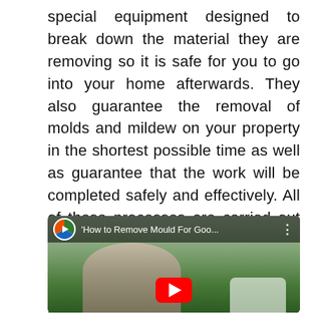special equipment designed to break down the material they are removing so it is safe for you to go into your home afterwards. They also guarantee the removal of molds and mildew on your property in the shortest possible time as well as guarantee that the work will be completed safely and effectively. All of these processes are carried out at your property. This way they can take out all the mold and mildew and leave the rest of your property in the same condition that it was before.
[Figure (screenshot): Embedded video thumbnail showing a YouTube-style player with title 'How to Remove Mould For Goo...' and a person standing outdoors in front of trees and a house.]